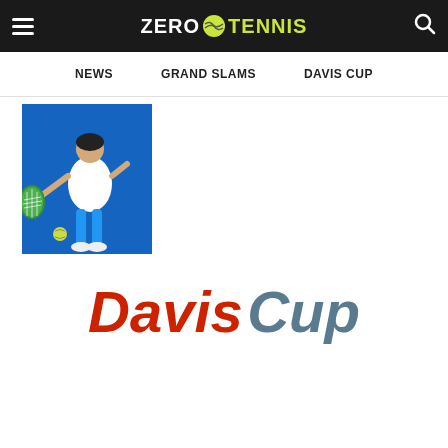Zero Tennis — NEWS | GRAND SLAMS | DAVIS CUP
[Figure (photo): Tennis player in action hitting a forehand shot, wearing white shirt and blue shorts, against blue background]
Davis Cup